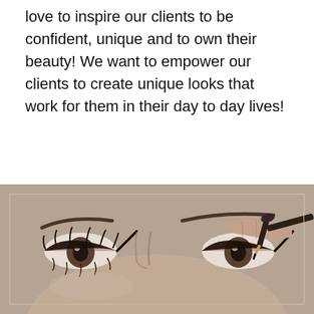love to inspire our clients to be confident, unique and to own their beauty! We want to empower our clients to create unique looks that work for them in their day to day lives!
[Figure (photo): Black and white vintage-style photograph of a woman's eyes and brow area with a hand applying eyeliner with a pencil, framed by a thin border, sepia/tan toned background]